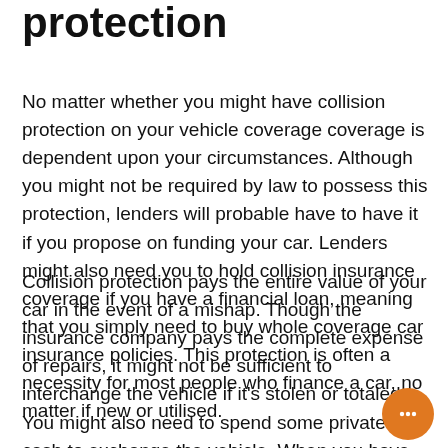protection
No matter whether you might have collision protection on your vehicle coverage coverage is dependent upon your circumstances. Although you might not be required by law to possess this protection, lenders will probable have to have it if you propose on funding your car. Lenders might also need you to hold collision insurance coverage if you have a financial loan, meaning that you simply need to buy whole coverage car insurance policies. This protection is often a necessity for most people who finance a car, no matter if new or utilised.
Collision protection pays the entire value of your car in the event of a mishap. Though the insurance company pays the complete expense of repairs, it might not be sufficient to interchange the vehicle if it's stolen or totaled. You might also need to spend some private cash to exchange the vehicle. When you have such a coverage, be sure you fully grasp the conditions and terms right before obtaining car or